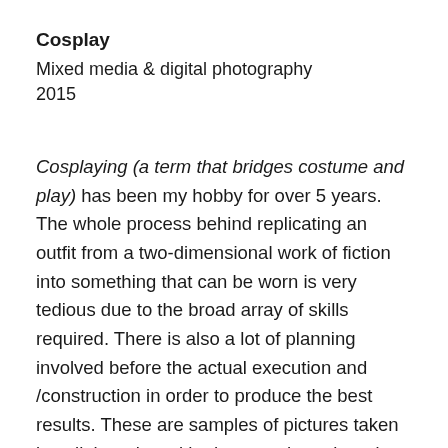Cosplay
Mixed media & digital photography
2015
Cosplaying (a term that bridges costume and play) has been my hobby for over 5 years. The whole process behind replicating an outfit from a two-dimensional work of fiction into something that can be worn is very tedious due to the broad array of skills required. There is also a lot of planning involved before the actual execution and /construction in order to produce the best results. These are samples of pictures taken in collaboration with photographers, in order to showcase my work in 2015 based